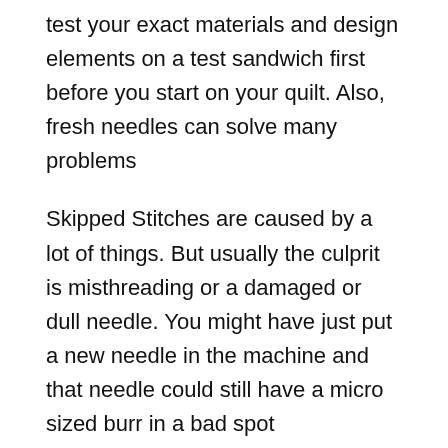test your exact materials and design elements on a test sandwich first before you start on your quilt. Also, fresh needles can solve many problems
Skipped Stitches are caused by a lot of things. But usually the culprit is misthreading or a damaged or dull needle. You might have just put a new needle in the machine and that needle could still have a micro sized burr in a bad spot somewhere. Or maybe you are like me and think you can eke out the whole darn quilt including patchwork and quilting with one needle. Well, that needle is probably the problem. There is a reason that sewing